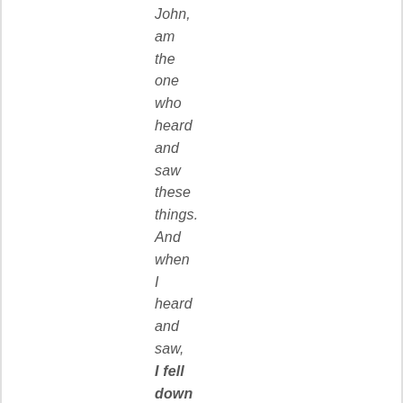John, am the one who heard and saw these things. And when I heard and saw, I fell down to worship at the feet of the